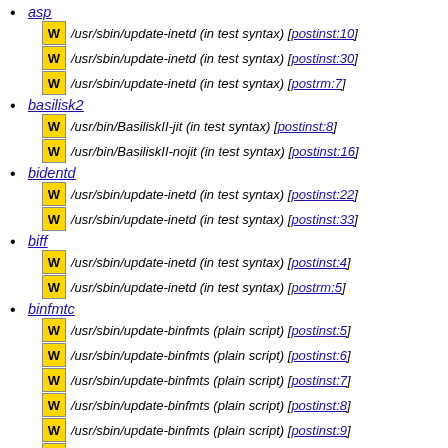asp
/usr/sbin/update-inetd (in test syntax) [postinst:10]
/usr/sbin/update-inetd (in test syntax) [postinst:30]
/usr/sbin/update-inetd (in test syntax) [postrm:7]
basilisk2
/usr/bin/BasiliskII-jit (in test syntax) [postinst:8]
/usr/bin/BasiliskII-nojit (in test syntax) [postinst:16]
bidentd
/usr/sbin/update-inetd (in test syntax) [postinst:22]
/usr/sbin/update-inetd (in test syntax) [postinst:33]
biff
/usr/sbin/update-inetd (in test syntax) [postinst:4]
/usr/sbin/update-inetd (in test syntax) [postrm:5]
binfmtc
/usr/sbin/update-binfmts (plain script) [postinst:5]
/usr/sbin/update-binfmts (plain script) [postinst:6]
/usr/sbin/update-binfmts (plain script) [postinst:7]
/usr/sbin/update-binfmts (plain script) [postinst:8]
/usr/sbin/update-binfmts (plain script) [postinst:9]
/usr/sbin/update-binfmts (plain script) [postinst:10]
/usr/sbin/update-binfmts (plain script) [postrm:6]
/usr/sbin/update-binfmts (plain script) [postrm:8]
/usr/sbin/update-binfmts (plain script) [postrm:10]
/usr/sbin/update-binfmts (plain script) [postrm:12]
/usr/sbin/update-binfmts (plain script) [postrm:14]